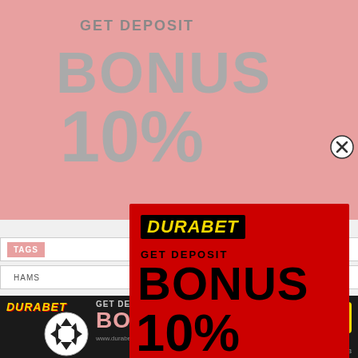[Figure (screenshot): Background pink advertisement showing GET DEPOSIT BONUS 10% text in gray on pink background]
[Figure (screenshot): Main popup red advertisement for DURABET - GET DEPOSIT BONUS 10% with BET NOW button and phone number +91 8976362013]
TAGS
HAMS
[Figure (screenshot): Bottom banner for DURABET showing GET DEPOSIT BONUS 10% with BET NOW button, www.durabet.com, +91 8976362013]